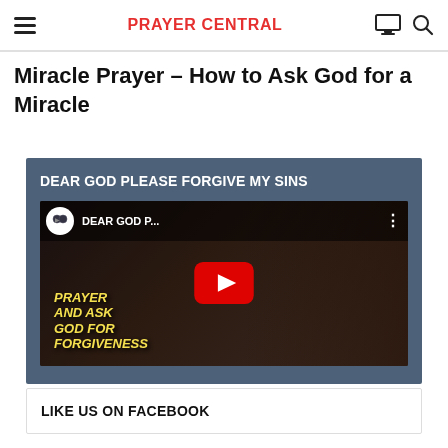PRAYER CENTRAL
Miracle Prayer – How to Ask God for a Miracle
[Figure (screenshot): YouTube video embed card with steel-blue background. Title: DEAR GOD PLEASE FORGIVE MY SINS. Thumbnail shows yellow italic text 'PRAYER AND ASK GOD FOR FORGIVENESS' over dark background, with a YouTube play button overlay and a top bar showing channel icon, 'DEAR GOD P...' and three-dot menu.]
LIKE US ON FACEBOOK